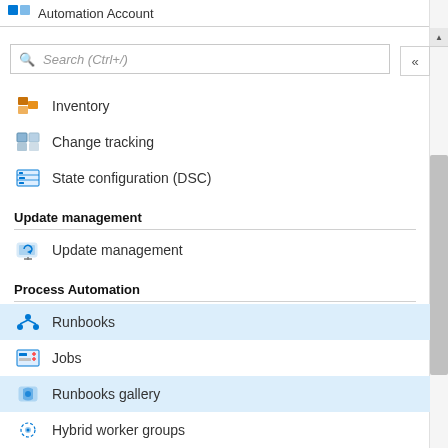Automation Account
[Figure (screenshot): Azure Automation Account navigation sidebar showing menu items: Inventory, Change tracking, State configuration (DSC), Update management section with Update management item, Process Automation section with Runbooks (active), Jobs, Runbooks gallery (active highlight), Hybrid worker groups, Watcher tasks]
Inventory
Change tracking
State configuration (DSC)
Update management
Update management
Process Automation
Runbooks
Jobs
Runbooks gallery
Hybrid worker groups
Watcher tasks